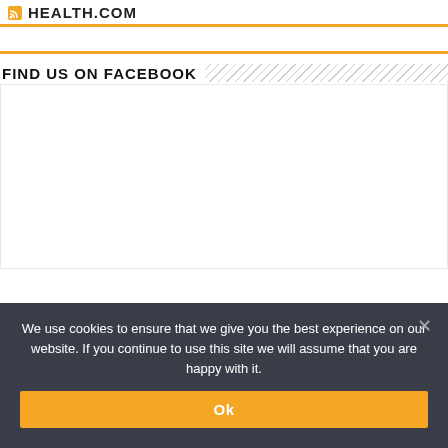HEALTH.COM
FIND US ON FACEBOOK
[Figure (other): Empty Facebook widget area with white background]
We use cookies to ensure that we give you the best experience on our website. If you continue to use this site we will assume that you are happy with it.
Ok